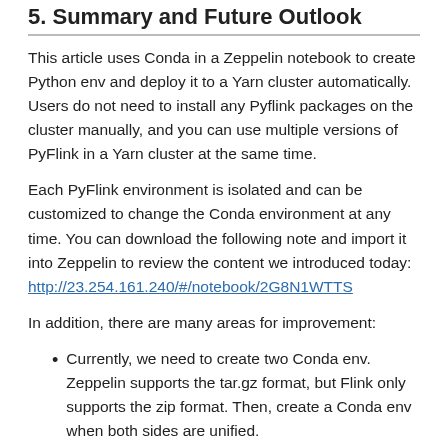5. Summary and Future Outlook
This article uses Conda in a Zeppelin notebook to create Python env and deploy it to a Yarn cluster automatically. Users do not need to install any Pyflink packages on the cluster manually, and you can use multiple versions of PyFlink in a Yarn cluster at the same time.
Each PyFlink environment is isolated and can be customized to change the Conda environment at any time. You can download the following note and import it into Zeppelin to review the content we introduced today: http://23.254.161.240/#/notebook/2G8N1WTTS
In addition, there are many areas for improvement:
Currently, we need to create two Conda env. Zeppelin supports the tar.gz format, but Flink only supports the zip format. Then, create a Conda env when both sides are unified.